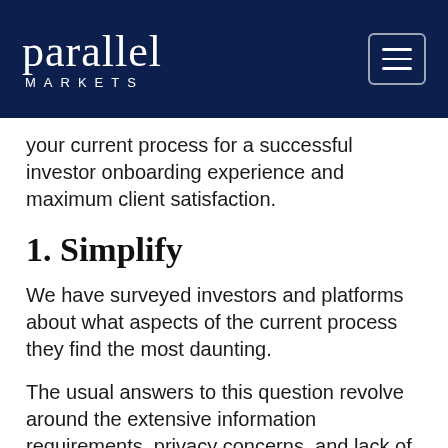[Figure (logo): Parallel Markets logo with white text on dark navy background, showing 'parallel' in large serif font and 'MARKETS' in spaced caps below, with a hamburger menu button in top right]
your current process for a successful investor onboarding experience and maximum client satisfaction.
1. Simplify
We have surveyed investors and platforms about what aspects of the current process they find the most daunting.
The usual answers to this question revolve around the extensive information requirements, privacy concerns, and lack of